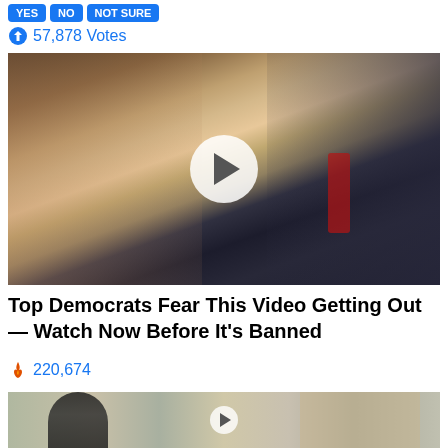[Figure (screenshot): Social media vote buttons (YES, NO, NOT SURE) in blue]
57,878 Votes
[Figure (photo): Photo of a woman and a man (Melania and Donald Trump) with a video play button overlay]
Top Democrats Fear This Video Getting Out — Watch Now Before It's Banned
220,674
[Figure (photo): Partial photo showing a person and a medical/anatomical illustration in the background]